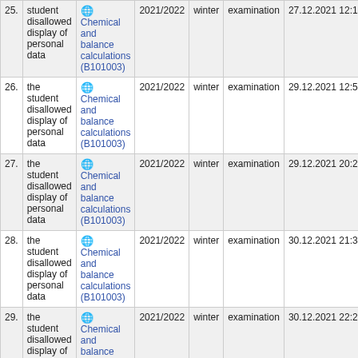| # | Reason | Course | Year | Semester | Type | Date |
| --- | --- | --- | --- | --- | --- | --- |
| 25. | student disallowed display of personal data | Chemical and balance calculations (B101003) | 2021/2022 | winter | examination | 27.12.2021 12:16:56 |
| 26. | the student disallowed display of personal data | Chemical and balance calculations (B101003) | 2021/2022 | winter | examination | 29.12.2021 12:55:06 |
| 27. | the student disallowed display of personal data | Chemical and balance calculations (B101003) | 2021/2022 | winter | examination | 29.12.2021 20:28:22 |
| 28. | the student disallowed display of personal data | Chemical and balance calculations (B101003) | 2021/2022 | winter | examination | 30.12.2021 21:30:57 |
| 29. | the student disallowed display of personal data | Chemical and balance calculations (B101003) | 2021/2022 | winter | examination | 30.12.2021 22:24:24 |
| 30. | the student... | Chemical... |  |  |  |  |